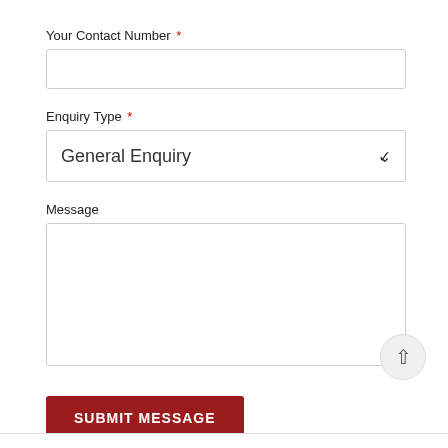Your Contact Number *
Enquiry Type *
General Enquiry
Message
SUBMIT MESSAGE